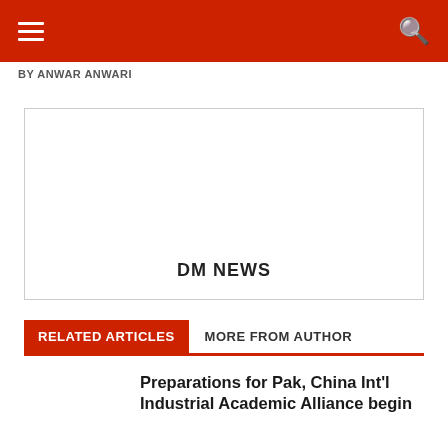DM NEWS - Navigation header with menu and search icons
BY ANWAR ANWARI
[Figure (other): Advertisement placeholder box with text 'DM NEWS' centered at the bottom]
RELATED ARTICLES    MORE FROM AUTHOR
Preparations for Pak, China Int'l Industrial Academic Alliance begin